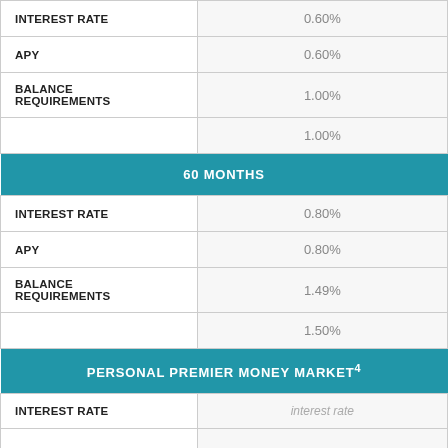|  |  |
| --- | --- |
| INTEREST RATE | 0.60% |
| APY | 0.60% |
| BALANCE REQUIREMENTS | 1.00% |
|  | 1.00% |
| 60 MONTHS |  |
| INTEREST RATE | 0.80% |
| APY | 0.80% |
| BALANCE REQUIREMENTS | 1.49% |
|  | 1.50% |
| PERSONAL PREMIER MONEY MARKET4 |  |
| INTEREST RATE | interest rate |
|  |  |